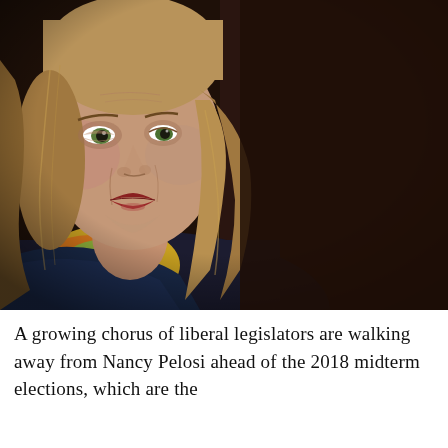[Figure (photo): Close-up photograph of a senior woman with shoulder-length blonde/brown hair, wearing red lipstick, a blue jacket and colorful scarf, photographed against a dark brown background. The image shows her face and upper torso.]
A growing chorus of liberal legislators are walking away from Nancy Pelosi ahead of the 2018 midterm elections, which are the...